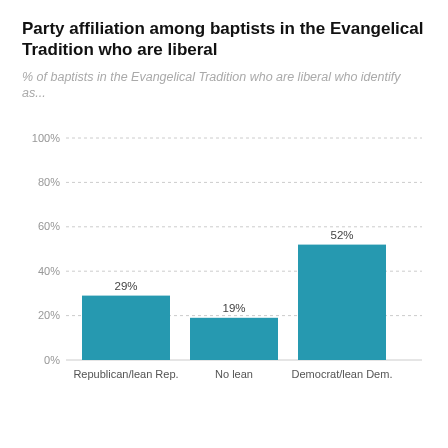Party affiliation among baptists in the Evangelical Tradition who are liberal
% of baptists in the Evangelical Tradition who are liberal who identify as...
[Figure (bar-chart): Party affiliation among baptists in the Evangelical Tradition who are liberal]